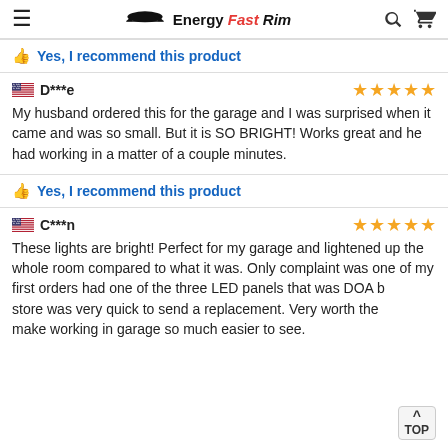Energy Fast Rim
Yes, I recommend this product
D***e — ★★★★★
My husband ordered this for the garage and I was surprised when it came and was so small. But it is SO BRIGHT! Works great and he had working in a matter of a couple minutes.
Yes, I recommend this product
C***n — ★★★★★
These lights are bright! Perfect for my garage and lightened up the whole room compared to what it was. Only complaint was one of my first orders had one of the three LED panels that was DOA but the store was very quick to send a replacement. Very worth the money make working in garage so much easier to see.